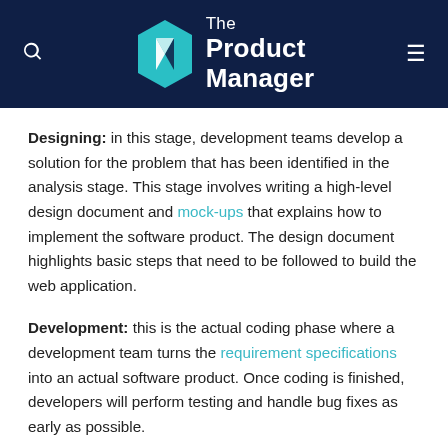The Product Manager
Designing: in this stage, development teams develop a solution for the problem that has been identified in the analysis stage. This stage involves writing a high-level design document and mock-ups that explains how to implement the software product. The design document highlights basic steps that need to be followed to build the web application.
Development: this is the actual coding phase where a development team turns the requirement specifications into an actual software product. Once coding is finished, developers will perform testing and handle bug fixes as early as possible.